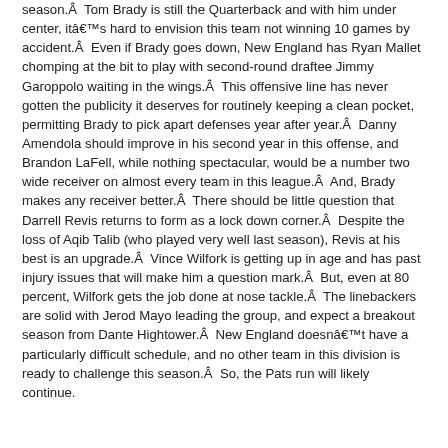season.Â  Tom Brady is still the Quarterback and with him under center, itâ€™s hard to envision this team not winning 10 games by accident.Â  Even if Brady goes down, New England has Ryan Mallet chomping at the bit to play with second-round draftee Jimmy Garoppolo waiting in the wings.Â  This offensive line has never gotten the publicity it deserves for routinely keeping a clean pocket, permitting Brady to pick apart defenses year after year.Â  Danny Amendola should improve in his second year in this offense, and Brandon LaFell, while nothing spectacular, would be a number two wide receiver on almost every team in this league.Â  And, Brady makes any receiver better.Â  There should be little question that Darrell Revis returns to form as a lock down corner.Â  Despite the loss of Aqib Talib (who played very well last season), Revis at his best is an upgrade.Â  Vince Wilfork is getting up in age and has past injury issues that will make him a question mark.Â  But, even at 80 percent, Wilfork gets the job done at nose tackle.Â  The linebackers are solid with Jerod Mayo leading the group, and expect a breakout season from Dante Hightower.Â  New England doesnâ€™t have a particularly difficult schedule, and no other team in this division is ready to challenge this season.Â  So, the Pats run will likely continue.